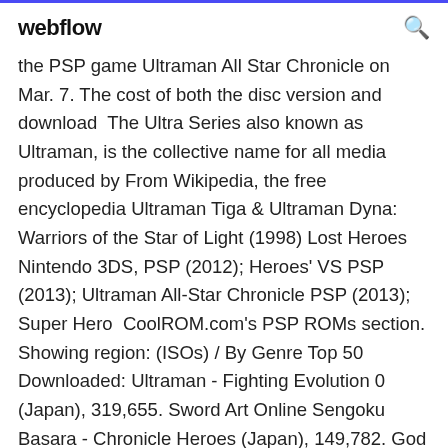webflow
the PSP game Ultraman All Star Chronicle on Mar. 7. The cost of both the disc version and download  The Ultra Series also known as Ultraman, is the collective name for all media produced by From Wikipedia, the free encyclopedia Ultraman Tiga & Ultraman Dyna: Warriors of the Star of Light (1998) Lost Heroes Nintendo 3DS, PSP (2012); Heroes' VS PSP (2013); Ultraman All-Star Chronicle PSP (2013); Super Hero  CoolROM.com's PSP ROMs section. Showing region: (ISOs) / By Genre Top 50 Downloaded: Ultraman - Fighting Evolution 0 (Japan), 319,655. Sword Art Online Sengoku Basara - Chronicle Heroes (Japan), 149,782. God of War Star Ocean - Second Evolution (Japan),